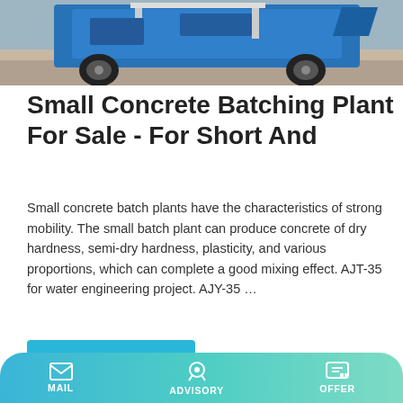[Figure (photo): Top portion of a blue mobile concrete batching plant machine on a job site, partially cropped]
Small Concrete Batching Plant For Sale - For Short And
Small concrete batch plants have the characteristics of strong mobility. The small batch plant can produce concrete of dry hardness, semi-dry hardness, plasticity, and various proportions, which can complete a good mixing effect. AJT-35 for water engineering project. AJY-35 …
Learn More
[Figure (photo): Bottom portion of the page showing a concrete batching plant equipment under a building structure, with Chinese signage visible in red]
MAIL   ADVISORY   OFFER